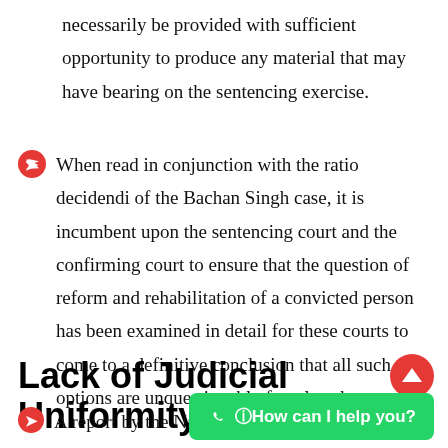necessarily be provided with sufficient opportunity to produce any material that may have bearing on the sentencing exercise.
When read in conjunction with the ratio decidendi of the Bachan Singh case, it is incumbent upon the sentencing court and the confirming court to ensure that the question of reform and rehabilitation of a convicted person has been examined in detail for these courts to come to a definitive conclusion that all such options are unquestionably foreclosed.
Lack of Judicial Uniformity
A report by the National Law